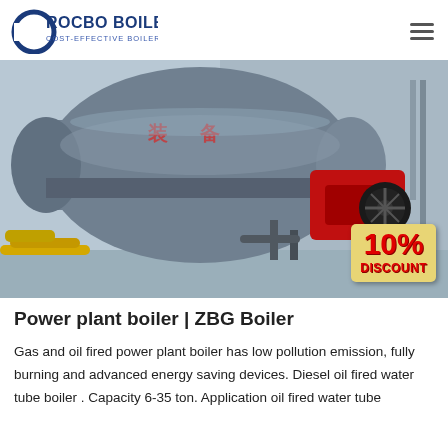ROCBO BOILER — COST-EFFECTIVE BOILER SUPPLIER
[Figure (photo): Industrial gas and oil fired power plant boiler in a factory setting. Large cylindrical steel boiler body with a red burner unit attached on the right side. Yellow pipes visible in the foreground. A '10% DISCOUNT' badge overlay in the bottom right corner.]
Power plant boiler | ZBG Boiler
Gas and oil fired power plant boiler has low pollution emission, fully burning and advanced energy saving devices. Diesel oil fired water tube boiler . Capacity 6-35 ton. Application oil fired water tube